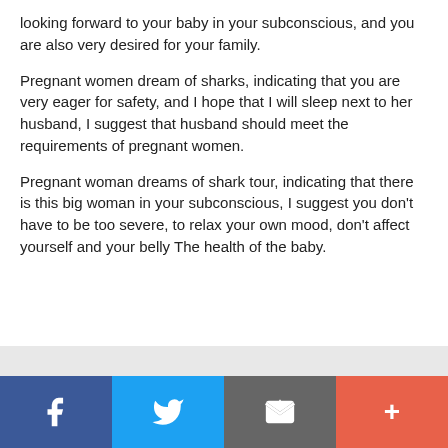looking forward to your baby in your subconscious, and you are also very desired for your family.
Pregnant women dream of sharks, indicating that you are very eager for safety, and I hope that I will sleep next to her husband, I suggest that husband should meet the requirements of pregnant women.
Pregnant woman dreams of shark tour, indicating that there is this big woman in your subconscious, I suggest you don't have to be too severe, to relax your own mood, don't affect yourself and your belly The health of the baby.
[Figure (infographic): Social media sharing bar with four buttons: Facebook (dark blue, f icon), Twitter (light blue, bird icon), Email/share (gray, envelope icon), and Plus/more (orange-red, + icon)]